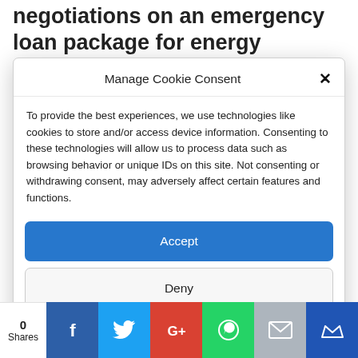negotiations on an emergency loan package for energy distributors, according to Reuters.
Manage Cookie Consent
To provide the best experiences, we use technologies like cookies to store and/or access device information. Consenting to these technologies will allow us to process data such as browsing behavior or unique IDs on this site. Not consenting or withdrawing consent, may adversely affect certain features and functions.
Accept
Deny
View preferences
Cookie Policy  Privacy policy
0 Shares